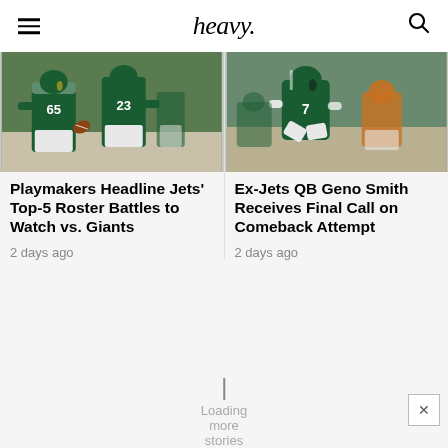heavy.
[Figure (photo): NFL players in green New York Jets uniforms, jersey numbers 65 and 23 visible, huddle/play formation]
Playmakers Headline Jets' Top-5 Roster Battles to Watch vs. Giants
2 days ago
[Figure (photo): NFL player in green New York Jets uniform, jersey number 7, appears to be Geno Smith, kneeling or sitting on sideline]
Ex-Jets QB Geno Smith Receives Final Call on Comeback Attempt
2 days ago
Loading more stories